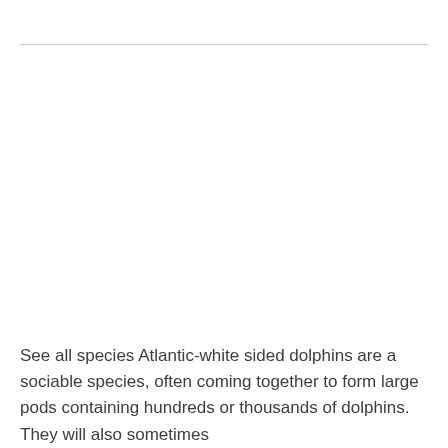See all species Atlantic-white sided dolphins are a sociable species, often coming together to form large pods containing hundreds or thousands of dolphins. They will also sometimes